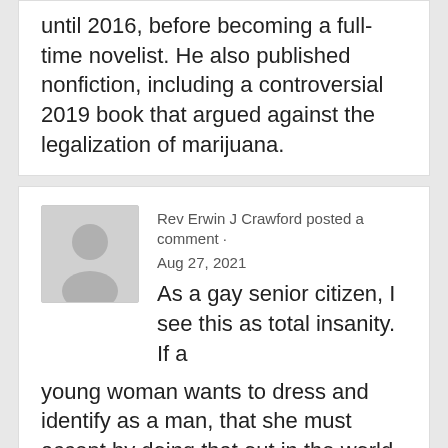until 2016, before becoming a full-time novelist. He also published nonfiction, including a controversial 2019 book that argued against the legalization of marijuana.
Rev Erwin J Crawford posted a comment · Aug 27, 2021 As a gay senior citizen, I see this as total insanity. If a young woman wants to dress and identify as a man, that she must accept by doing that out in the world urinals are NOT going to be removed because she is offended. Get over it, Mary. This position by my